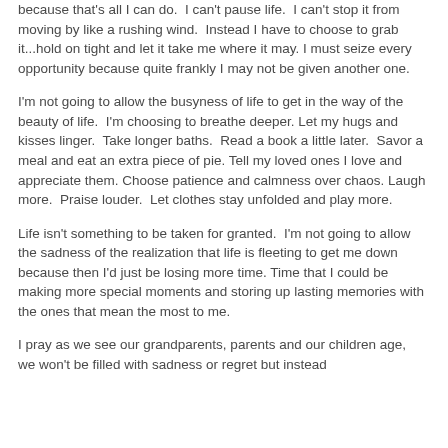because that's all I can do.  I can't pause life.  I can't stop it from moving by like a rushing wind.  Instead I have to choose to grab it...hold on tight and let it take me where it may. I must seize every opportunity because quite frankly I may not be given another one.
I'm not going to allow the busyness of life to get in the way of the beauty of life.  I'm choosing to breathe deeper. Let my hugs and kisses linger.  Take longer baths.  Read a book a little later.  Savor a meal and eat an extra piece of pie. Tell my loved ones I love and appreciate them. Choose patience and calmness over chaos. Laugh more.  Praise louder.  Let clothes stay unfolded and play more.
Life isn't something to be taken for granted.  I'm not going to allow the sadness of the realization that life is fleeting to get me down because then I'd just be losing more time. Time that I could be making more special moments and storing up lasting memories with the ones that mean the most to me.
I pray as we see our grandparents, parents and our children age,  we won't be filled with sadness or regret but instead